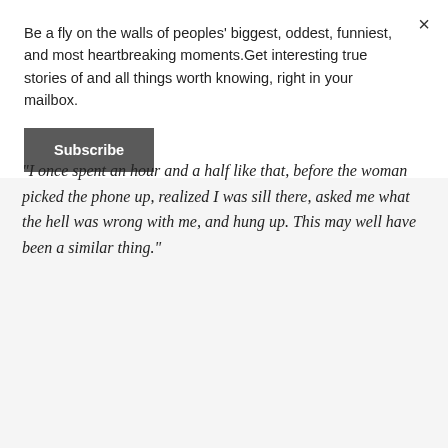Be a fly on the walls of peoples' biggest, oddest, funniest, and most heartbreaking moments.Get interesting true stories of and all things worth knowing, right in your mailbox.
Subscribe
"I once spent an hour and a half like that, before the woman picked the phone up, realized I was sill there, asked me what the hell was wrong with me, and hung up. This may well have been a similar thing."